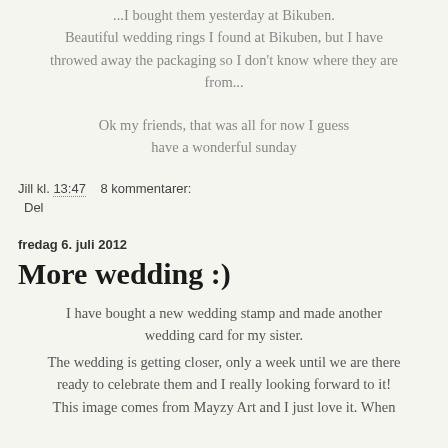...I bought them yesterday at Bikuben. Beautiful wedding rings I found at Bikuben, but I have throwed away the packaging so I don't know where they are from...
Ok my friends, that was all for now I guess have a wonderful sunday
Jill kl. 13:47    8 kommentarer:
Del
fredag 6. juli 2012
More wedding :)
I have bought a new wedding stamp and made another wedding card for my sister. The wedding is getting closer, only a week until we are there ready to celebrate them and I really looking forward to it! This image comes from Mayzy Art and I just love it. When